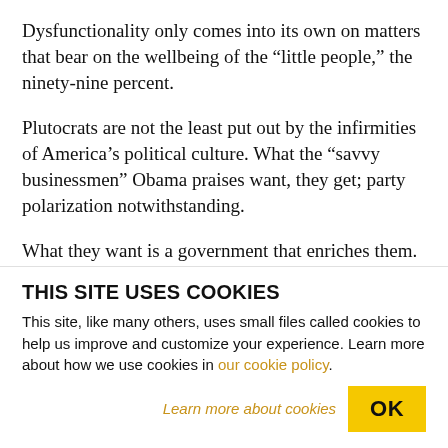Dysfunctionality only comes into its own on matters that bear on the wellbeing of the “little people,” the ninety-nine percent.
Plutocrats are not the least put out by the infirmities of America’s political culture. What the “savvy businessmen” Obama praises want, they get; party polarization notwithstanding.
What they want is a government that enriches them. If this means stealing from the poor (and nearly everybody else) to give to the rich, or inviting
THIS SITE USES COOKIES
This site, like many others, uses small files called cookies to help us improve and customize your experience. Learn more about how we use cookies in our cookie policy.
Learn more about cookies
OK